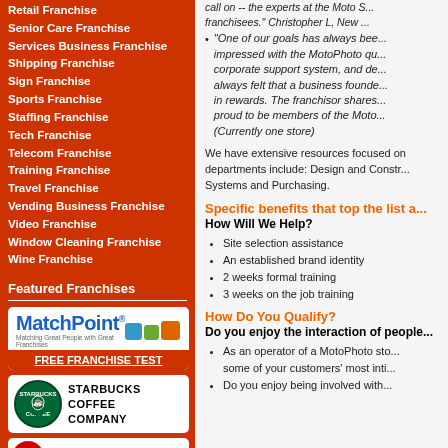Retail Franchise
Senior Care Franchise
Services Business Franchise
Shipping Franchise
Sign Franchise
Sports Franchise
Staffing Franchise
Tech Franchise
Telecom Franchise
Training Franchise
Travel Franchise
Vending Business Franchise
Video Franchise
Window Cleaning Franchise
Wine Franchise
Featured Franchises
[Figure (logo): MatchPoint logo with FREE FRANCHISE TEST button]
[Figure (logo): Starbucks Coffee Company logo]
[Figure (logo): Third franchise logo (partially visible)]
call on -- the experts at the Moto S... franchisees." Christopher L, New ...
"One of our goals has always been... impressed with the MotoPhoto qu... corporate support system, and de... always felt that a business founde... in rewards. The franchisor shares... proud to be members of the Moto... (Currently one store)
We have extensive resources focused on departments include: Design and Constr... Systems and Purchasing.
Specific benefits that top the list a...
How Will We Help?
Site selection assistance
An established brand identity
2 weeks formal training
3 weeks on the job training
How Do You Qualify?
Do you enjoy the interaction of people...
As an operator of a MotoPhoto sto... some of your customers' most inti...
Do you enjoy being involved with...